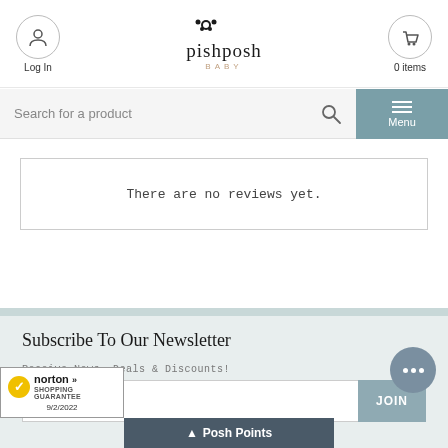[Figure (logo): PishPosh Baby logo with paw print icon above text]
Log In
0 items
Search for a product
Menu
There are no reviews yet.
Subscribe To Our Newsletter
Receive News, Deals & Discounts!
JOIN
[Figure (logo): Norton Shopping Guarantee badge with checkmark, dated 9/2/2022]
Posh Points